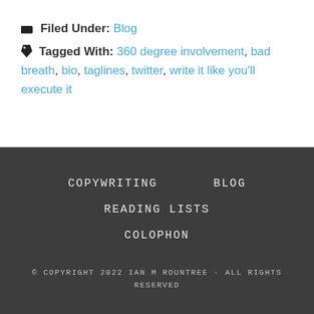Filed Under: Blog
Tagged With: 360 degree involvement, bad breath, bio, taglines, twitter, write it like you'll execute it
COPYWRITING
BLOG
READING LISTS
COLOPHON
© COPYRIGHT 2022 IAN M ROUNTREE · ALL RIGHTS RESERVED